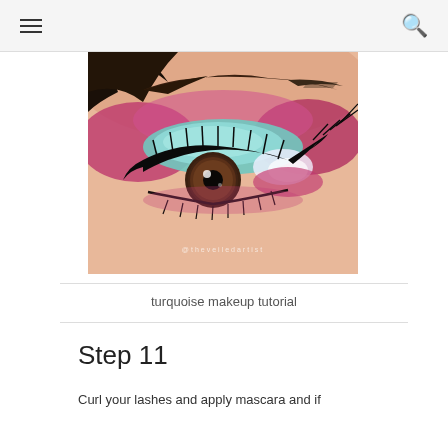☰  🔍
[Figure (photo): Close-up photograph of an eye with colorful makeup — turquoise shimmer eyeshadow on the lid, magenta/pink blended on the outer corners and crease, dramatic black winged eyeliner, and thick lashes. Watermark reads @theveiledartist.]
turquoise makeup tutorial
Step 11
Curl your lashes and apply mascara and if